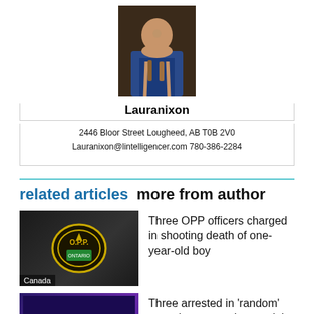[Figure (photo): Author photo of Lauranixon, woman in blue outfit]
Lauranixon
2446 Bloor Street Lougheed, AB T0B 2V0
Lauranixon@lintelligencer.com 780-386-2284
related articles   more from author
[Figure (photo): OPP badge close-up, dark background, Canada label]
Three OPP officers charged in shooting death of one-year-old boy
[Figure (photo): Police car with purple lighting, Canada label]
Three arrested in 'random' assaults captured on social media video